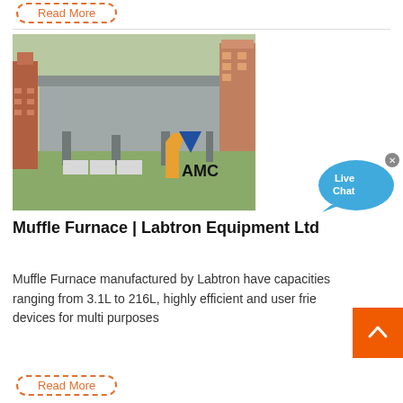Read More
[Figure (photo): Aerial view of an industrial facility with a large gray roof structure and equipment, with AMC logo overlay]
[Figure (other): Live Chat widget bubble in blue]
Muffle Furnace | Labtron Equipment Ltd
Muffle Furnace manufactured by Labtron have capacities ranging from 3.1L to 216L, highly efficient and user friendly devices for multi purposes
Read More